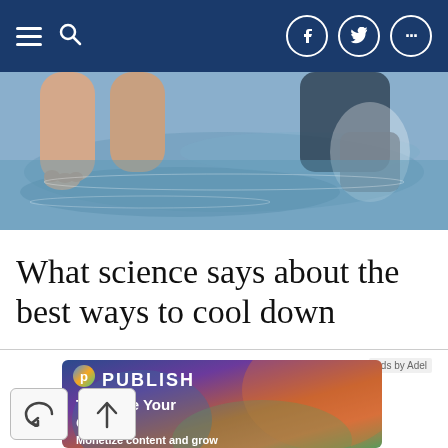Navigation bar with hamburger menu, search icon, and social media icons (Facebook, Twitter, more)
[Figure (photo): Overhead view of two people lying in shallow water at a beach or pool edge, showing legs and splashing water]
What science says about the best ways to cool down
[Figure (infographic): Advertisement for Publish platform: 'Tokenize Your Content — Monetize content and grow'. Features colorful gradient background with blue, orange, and green tones. Publish logo with 'P' icon in top left.]